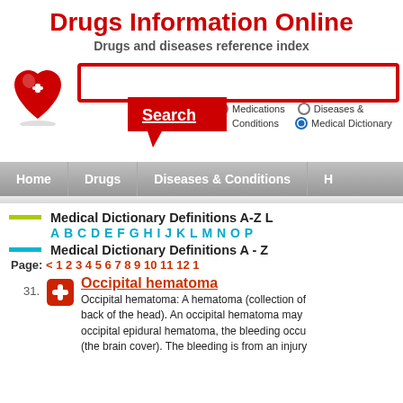Drugs Information Online
Drugs and diseases reference index
[Figure (logo): Red heart with white plus sign logo]
Search | Medications | Diseases & Conditions | Medical Dictionary (selected)
Home | Drugs | Diseases & Conditions | H...
Medical Dictionary Definitions A-Z L...
A B C D E F G H I J K L M N O P...
Medical Dictionary Definitions A - Z
Page: < 1 2 3 4 5 6 7 8 9 10 11 12 1...
31. Occipital hematoma - Occipital hematoma: A hematoma (collection of blood) at the back of the head). An occipital hematoma may be an occipital epidural hematoma, the bleeding occurs between the skull and the dura (the brain cover). The bleeding is from an injury...